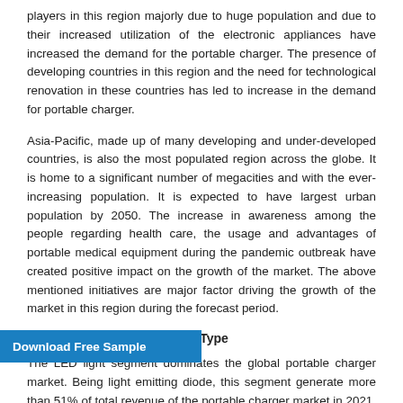players in this region majorly due to huge population and due to their increased utilization of the electronic appliances have increased the demand for the portable charger. The presence of developing countries in this region and the need for technological renovation in these countries has led to increase in the demand for portable charger.
Asia-Pacific, made up of many developing and under-developed countries, is also the most populated region across the globe. It is home to a significant number of megacities and with the ever-increasing population. It is expected to have largest urban population by 2050. The increase in awareness among the people regarding health care, the usage and advantages of portable medical equipment during the pandemic outbreak have created positive impact on the growth of the market. The above mentioned initiatives are major factor driving the growth of the market in this region during the forecast period.
Portable Charger Market, By Type
The LED light segment dominates the global portable charger market. Being light emitting diode, this segment generate more than 51% of total revenue of the portable charger market in 2021. LED lighting products produce light up to 90% more efficiently than